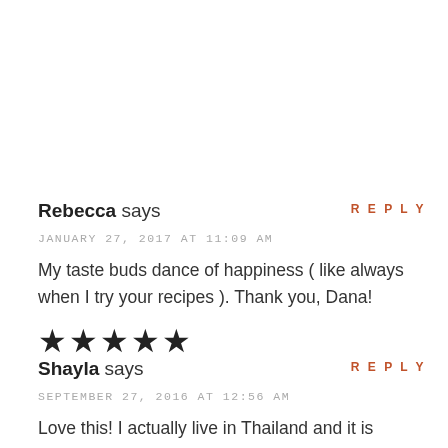REPLY
Rebecca says
JANUARY 27, 2017 AT 11:09 AM
My taste buds dance of happiness ( like always when I try your recipes ). Thank you, Dana!
[Figure (other): Five filled black star rating icons]
REPLY
Shayla says
SEPTEMBER 27, 2016 AT 12:56 AM
Love this! I actually live in Thailand and it is